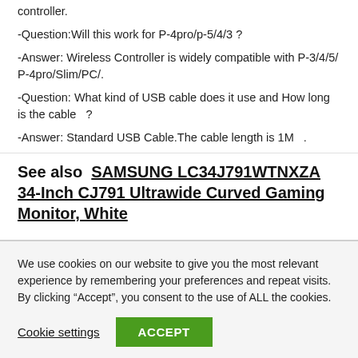controller.
-Question:Will this work for P-4pro/p-5/4/3 ?
-Answer: Wireless Controller is widely compatible with P-3/4/5/ P-4pro/Slim/PC/.
-Question: What kind of USB cable does it use and How long is the cable  ?
-Answer: Standard USB Cable.⁠The cable length is 1M  .
See also  SAMSUNG LC34J791WTNXZA 34-Inch CJ791 Ultrawide Curved Gaming Monitor, White
We use cookies on our website to give you the most relevant experience by remembering your preferences and repeat visits. By clicking “Accept”, you consent to the use of ALL the cookies.
Cookie settings
ACCEPT